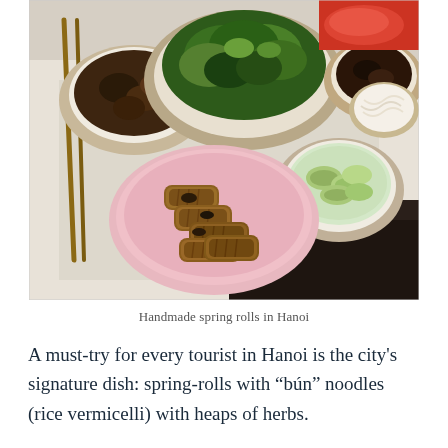[Figure (photo): A spread of Vietnamese food on a table including a plate of fried spring rolls on a pink plate, bowls of braised meat, a large plate of fresh herbs and greens, a bowl of pickled vegetables in liquid, and white rice noodles. Chopsticks are visible on the left side.]
Handmade spring rolls in Hanoi
A must-try for every tourist in Hanoi is the city's signature dish: spring-rolls with “bún” noodles (rice vermicelli) with heaps of herbs.